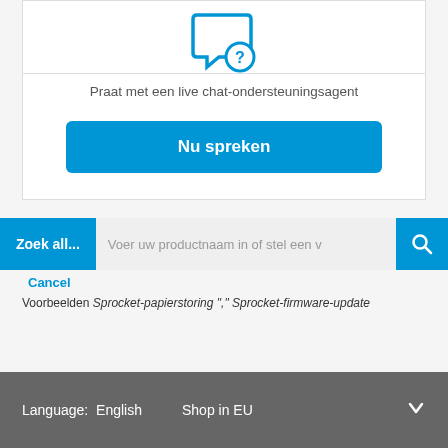[Figure (illustration): Blue chat bubble icon with a question mark]
Praat met een live chat-ondersteuningsagent
Nu spreken
Zoek all...
Voer uw productnaam in of stel een v
Cancel
Voorbeelden Sprocket-papierstoring "," Sprocket-firmware-update
Language: English   Shop in EU